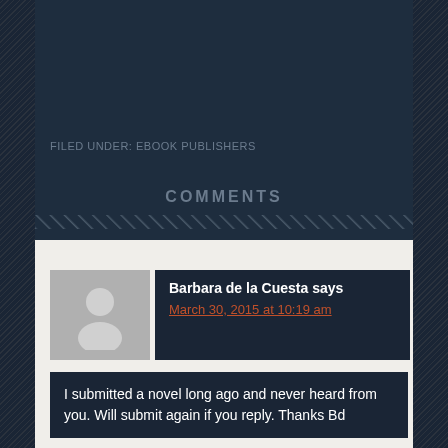FILED UNDER: EBOOK PUBLISHERS
COMMENTS
Barbara de la Cuesta says
March 30, 2015 at 10:19 am
I submitted a novel long ago and never heard from you. Will submit again if you reply. Thanks Bd